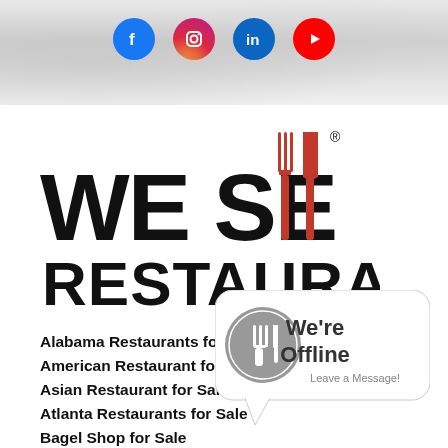[Figure (other): Social media icons row: Facebook (blue), Instagram (gradient), LinkedIn (blue), YouTube (red)]
[Figure (logo): We Sell Restaurants logo — bold black text with red fork and knife replacing the two L letters in SELL]
Alabama Restaurants for Sale
American Restaurant for Sale
Asian Restaurant for Sale
Atlanta Restaurants for Sale
Bagel Shop for Sale
Bakery for Sale
Bars for Sale
BBQ Restaurants for Sale
Bed and Breakfast for Sale
Breakfast Restaurant for Sale
[Figure (other): Chat widget showing a grey plate/fork icon and text: We're Offline — Leave a Message!]